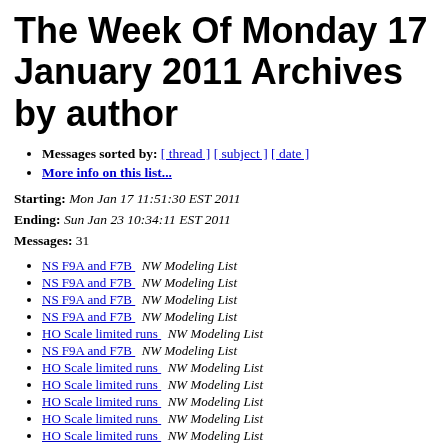The Week Of Monday 17 January 2011 Archives by author
Messages sorted by: [ thread ] [ subject ] [ date ]
More info on this list...
Starting: Mon Jan 17 11:51:30 EST 2011
Ending: Sun Jan 23 10:34:11 EST 2011
Messages: 31
NS F9A and F7B   NW Modeling List
NS F9A and F7B   NW Modeling List
NS F9A and F7B   NW Modeling List
NS F9A and F7B   NW Modeling List
HO Scale limited runs   NW Modeling List
NS F9A and F7B   NW Modeling List
HO Scale limited runs   NW Modeling List
HO Scale limited runs   NW Modeling List
HO Scale limited runs   NW Modeling List
HO Scale limited runs   NW Modeling List
HO Scale limited runs   NW Modeling List